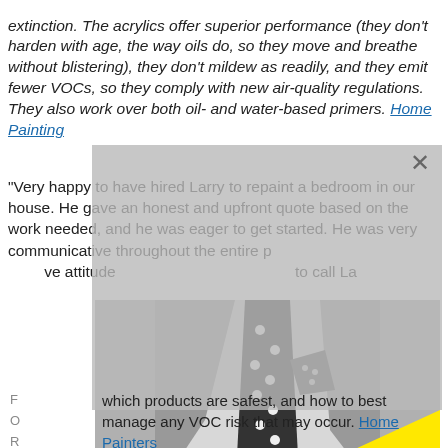extinction. The acrylics offer superior performance (they don't harden with age, the way oils do, so they move and breathe without blistering), they don't mildew as readily, and they emit fewer VOCs, so they comply with new air-quality regulations. They also work over both oil- and water-based primers. Home Painting
"Very happy to have hired Larry to repaint a bedroom in our house. He gave an honest and upfront quote based on the work needed, and he was eager to get started. He was very communicative throughout the entire p... ve attitude... e to call La...
[Figure (photo): Black and white photo of a man in a suit with a polka dot tie and pocket square, with a large yellow triangle overlaid on the right side of the image. A modal/dialog overlay with a close X button partially covers background text.]
which products are safest, and how to best manage any VOC risk that may occur. Home Painters